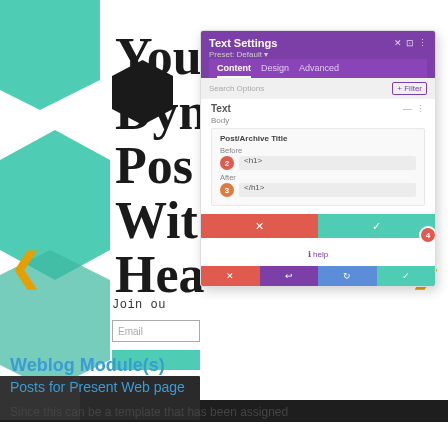[Figure (screenshot): A screenshot of a website builder (Divi) showing a Text Settings panel overlaid on a web page. The web page has teal/mint hexagon shapes on the left, a black hexagon, and large bold text reading 'You Dy... Po... Wi... He...' (truncated). Navigation arrows in orange appear on left and right. There is a 'Join ou...' text with an email input field and teal button. The UI panel shows 'Text Settings' with tabs for Content, Design, Advanced; a Post/Archive Title section with Before/After fields labeled 2 and 3 with HTML tags; action buttons (cancel in red, save in teal) with badge 4; and a Help link. A bottom toolbar with colored buttons (red, purple, blue, teal) appears at the bottom of the screenshot.]
Weblog Module(s)
Posts for Present Web page
Since this can be a template that has been assigned